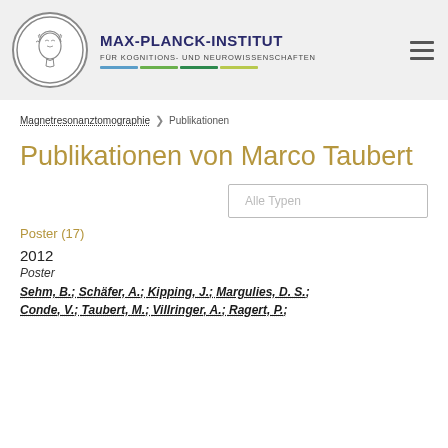[Figure (logo): Max-Planck-Institut für Kognitions- und Neurowissenschaften header with circular logo, institute name, colored bars, and hamburger menu icon]
MAX-PLANCK-INSTITUT FÜR KOGNITIONS- UND NEUROWISSENSCHAFTEN
Magnetresonanztomographie ❯ Publikationen
Publikationen von Marco Taubert
Alle Typen
Poster (17)
2012
Poster
Sehm, B.; Schäfer, A.; Kipping, J.; Margulies, D. S.; Conde, V.; Taubert, M.; Villringer, A.; Ragert, P.;